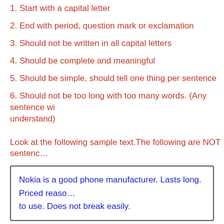1. Start with a capital letter
2. End with period, question mark or exclamation
3. Should not be written in all capital letters
4. Should be complete and meaningful
5. Should be simple, should tell one thing per sentence
6. Should not be too long with too many words. (Any sentence wi… understand)
Look at the following sample text.The following are NOT sentenc…
Nokia is a good phone manufacturer. Lasts long. Priced reaso… to use. Does not break easily.